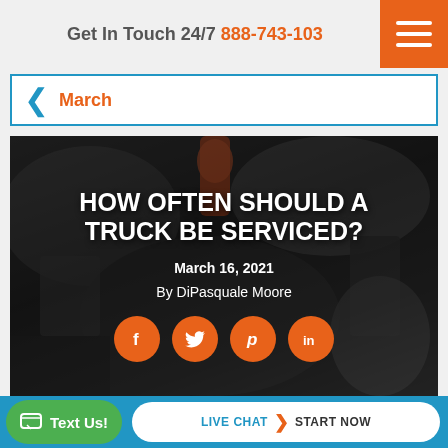Get In Touch 24/7  888-743-103
< March
[Figure (photo): Dark background photo of mechanic working on truck engine, overlaid with article title and social sharing buttons]
HOW OFTEN SHOULD A TRUCK BE SERVICED?
March 16, 2021
By DiPasquale Moore
Text Us!  LIVE CHAT  START NOW